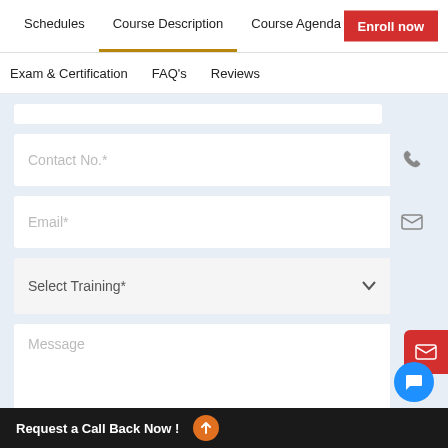Schedules | Course Description | Course Agenda | Exam & Certification | FAQ's | Reviews | Enroll now
[Figure (screenshot): Web form with fields: Contact No., Email, Select Training dropdown, Message textarea, and SUBMIT button on a light blue background]
Request a Call Back Now !